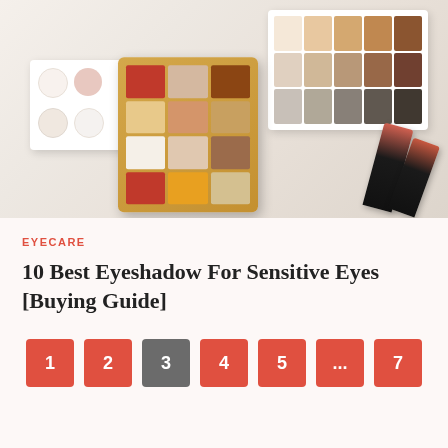[Figure (photo): Flat lay of makeup eyeshadow palettes and lipsticks on a white surface. Center: an open gold/orange eyeshadow palette with 12 color swatches (reds, browns, yellows, whites). Left: a white compact palette with round powder swatches. Right: a large multi-color eyeshadow palette. Far right: two black lipsticks with coral caps.]
EYECARE
10 Best Eyeshadow For Sensitive Eyes [Buying Guide]
1
2
3
4
5
...
7